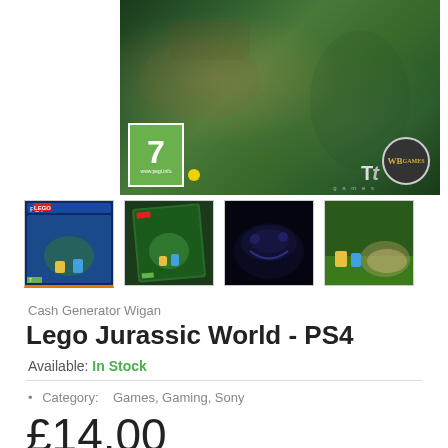[Figure (screenshot): LEGO Jurassic World PS4 game banner with PEGI 7 rating, TT Games and WB Games logos on dark green jungle background]
[Figure (photo): Four thumbnail images: PS4 game box cover, angled box art, dark dinosaur scene, outdoor LEGO scene]
Cash Generator Wigan
Lego Jurassic World - PS4
Available: In Stock
Category:   Games, Gaming, Sony
£14.00